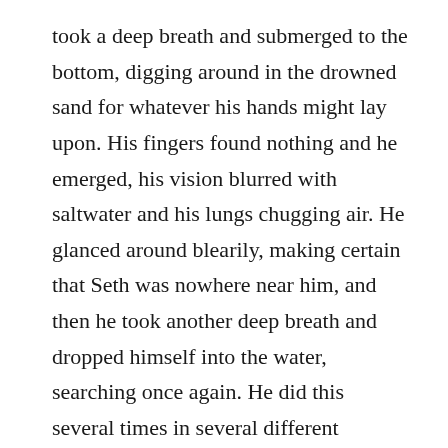took a deep breath and submerged to the bottom, digging around in the drowned sand for whatever his hands might lay upon. His fingers found nothing and he emerged, his vision blurred with saltwater and his lungs chugging air. He glanced around blearily, making certain that Seth was nowhere near him, and then he took another deep breath and dropped himself into the water, searching once again. He did this several times in several different locations. Meanwhile, he thought about his mother and his father and his cousins and his aunt and uncle. He drowned in his own thoughts and frets. Tiffany, Samantha, and Seth weren't Andy's real cousins; not by blood, anyway. Their father had divorced their mother in order to marry Andy's aunt. The drama of it all happened over a decade ago. Andy